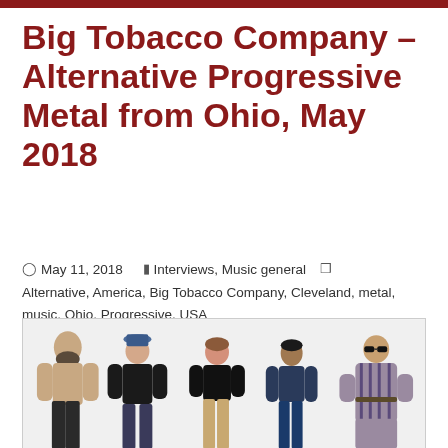Big Tobacco Company – Alternative Progressive Metal from Ohio, May 2018
May 11, 2018   Interviews, Music general   Alternative, America, Big Tobacco Company, Cleveland, metal, music, Ohio, Progressive, USA
[Figure (photo): Five band members standing against a white background: a shirtless bearded man, a person in dark clothes with a hat, a person in a black top with light pants, a person in a dark long-sleeve shirt and jeans, and a person in a striped robe with sunglasses.]